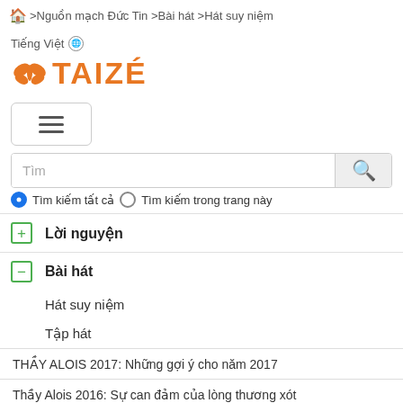🏠 >Nguồn mạch Đức Tin >Bài hát >Hát suy niệm
Tiếng Việt 🌐
[Figure (logo): Taizé logo with orange cross/bird icon and orange text TAIZÉ]
[Figure (other): Hamburger menu button with three horizontal bars]
Tìm
Tìm kiếm tất cả  ○ Tìm kiếm trong trang này
⊞ Lời nguyện
⊟ Bài hát
Hát suy niệm
Tập hát
THẦY ALOIS 2017: Những gợi ý cho năm 2017
Thầy Alois 2016: Sự can đảm của lòng thương xót